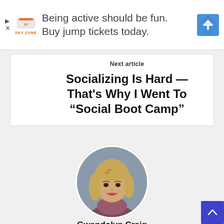[Figure (screenshot): Advertisement banner for Sky Zone: 'Being active should be fun. Buy jump tickets today.' with Sky Zone logo and navigation arrow icon]
Next article
Socializing Is Hard — That's Why I Went To “Social Boot Camp”
[Figure (photo): Circular profile photo of a young blonde woman named Gwendolyn Craig]
Gwendolyn Craig